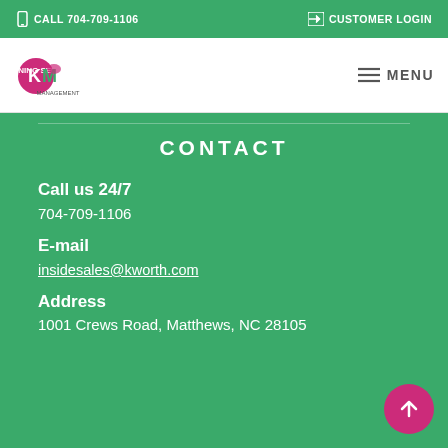CALL 704-709-1106   CUSTOMER LOGIN
[Figure (logo): Kworth company logo with pink and green branding]
MENU
CONTACT
Call us 24/7
704-709-1106
E-mail
insidesales@kworth.com
Address
1001 Crews Road, Matthews, NC 28105